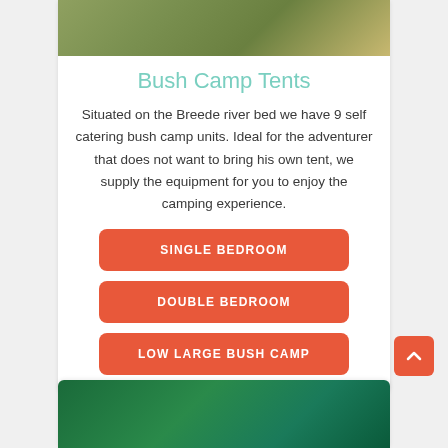[Figure (photo): Top portion of outdoor photo showing grassy area near Breede river bed]
Bush Camp Tents
Situated on the Breede river bed we have 9 self catering bush camp units. Ideal for the adventurer that does not want to bring his own tent, we supply the equipment for you to enjoy the camping experience.
SINGLE BEDROOM
DOUBLE BEDROOM
LOW LARGE BUSH CAMP
[Figure (photo): Bottom portion showing next section with green tent/forest photo]